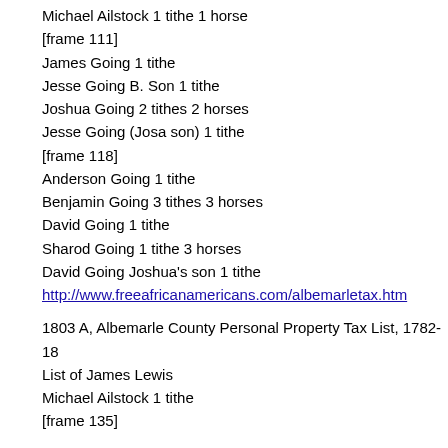Michael Ailstock 1 tithe 1 horse
[frame 111]
James Going 1 tithe
Jesse Going B. Son 1 tithe
Joshua Going 2 tithes 2 horses
Jesse Going (Josa son) 1 tithe
[frame 118]
Anderson Going 1 tithe
Benjamin Going 3 tithes 3 horses
David Going 1 tithe
Sharod Going 1 tithe 3 horses
David Going Joshua's son 1 tithe
http://www.freeafricanamericans.com/albemarletax.htm
1803 A, Albemarle County Personal Property Tax List, 1782-18
List of James Lewis
Michael Ailstock 1 tithe
[frame 135]